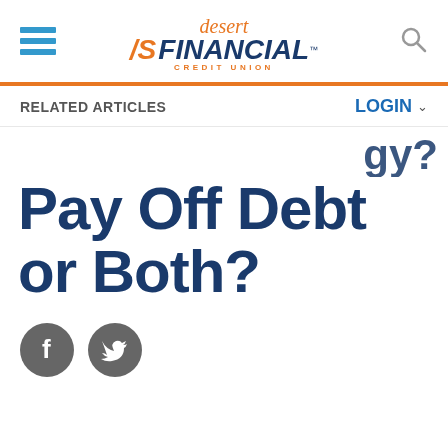[Figure (logo): Desert Financial Credit Union logo with hamburger menu and search icon]
RELATED ARTICLES
LOGIN
Pay Off Debt or Both?
[Figure (other): Facebook and Twitter social share icons]